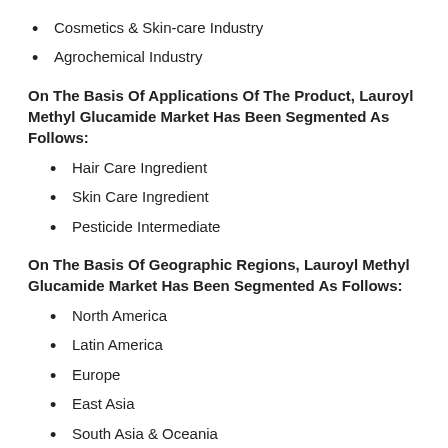Cosmetics & Skin-care Industry
Agrochemical Industry
On The Basis Of Applications Of The Product, Lauroyl Methyl Glucamide Market Has Been Segmented As Follows:
Hair Care Ingredient
Skin Care Ingredient
Pesticide Intermediate
On The Basis Of Geographic Regions, Lauroyl Methyl Glucamide Market Has Been Segmented As Follows:
North America
Latin America
Europe
East Asia
South Asia & Oceania